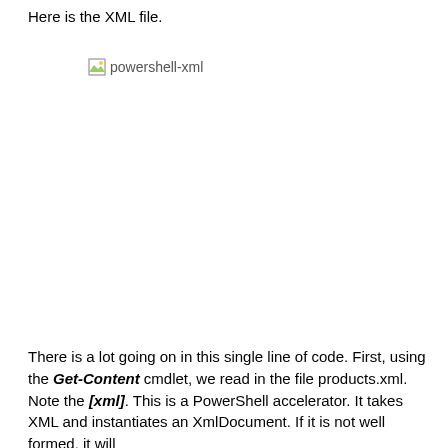Here is the XML file.
[Figure (screenshot): Screenshot of a PowerShell XML file labeled 'powershell-xml' (broken image placeholder shown)]
There is a lot going on in this single line of code. First, using the Get-Content cmdlet, we read in the file products.xml. Note the [xml]. This is a PowerShell accelerator. It takes XML and instantiates an XmlDocument. If it is not well formed, it will throw an error. Furthermore, an output statement for an xml di...